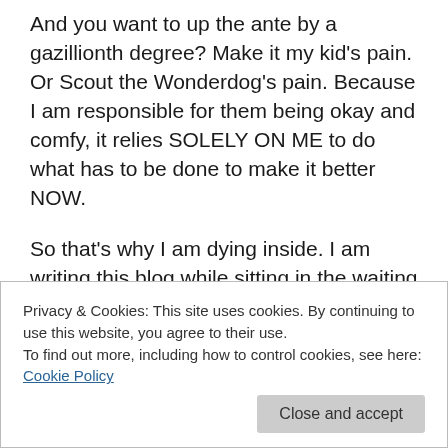And you want to up the ante by a gazillionth degree? Make it my kid's pain. Or Scout the Wonderdog's pain. Because I am responsible for them being okay and comfy, it relies SOLELY ON ME to do what has to be done to make it better NOW.
So that's why I am dying inside. I am writing this blog while sitting in the waiting room of the oral surgeon while my son is getting his wisdom teeth out.
To clarify, my son is 19 years old, almost 20. Even though he has been away at college for a year now and the deep
was my apron stringless, brand new all grown up false
Privacy & Cookies: This site uses cookies. By continuing to use this website, you agree to their use.
To find out more, including how to control cookies, see here: Cookie Policy